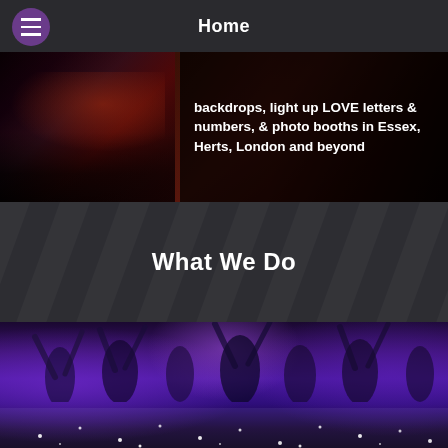Home
[Figure (photo): Party/event scene with crowd and red/dark lighting, overlaid with text about backdrops, light up LOVE letters & numbers, and photo booths in Essex, Herts, London and beyond]
backdrops, light up LOVE letters & numbers, & photo booths in Essex, Herts, London and beyond
What We Do
[Figure (photo): Large group of people dancing on a starlit white dance floor under purple/blue stage lighting at an event or wedding reception]